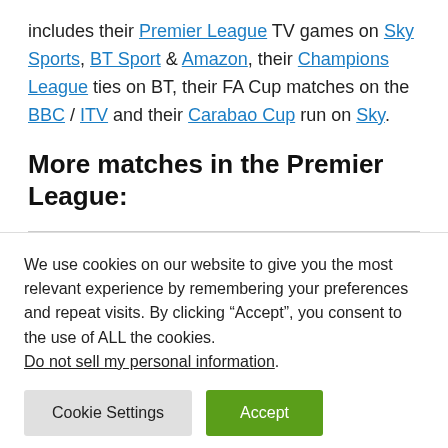includes their Premier League TV games on Sky Sports, BT Sport & Amazon, their Champions League ties on BT, their FA Cup matches on the BBC / ITV and their Carabao Cup run on Sky.
More matches in the Premier League:
We use cookies on our website to give you the most relevant experience by remembering your preferences and repeat visits. By clicking “Accept”, you consent to the use of ALL the cookies. Do not sell my personal information.